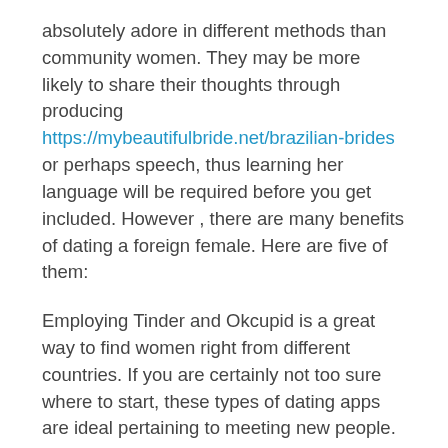absolutely adore in different methods than community women. They may be more likely to share their thoughts through producing https://mybeautifulbride.net/brazilian-brides or perhaps speech, thus learning her language will be required before you get included. However , there are many benefits of dating a foreign female. Here are five of them:
Employing Tinder and Okcupid is a great way to find women right from different countries. If you are certainly not too sure where to start, these types of dating apps are ideal pertaining to meeting new people. You can even create dates before you can be bought. However , you ought not use these services otherwise you only origin of meeting overseas women. A new few fundamental phrases in her vocabulary. This will give you an edge and present that you worry